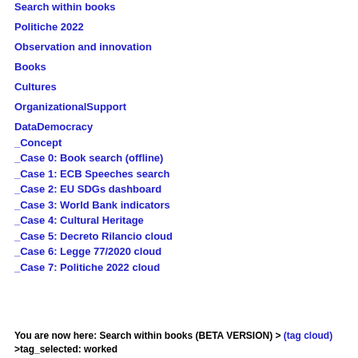Search within books
Politiche 2022
Observation and innovation
Books
Cultures
OrganizationalSupport
DataDemocracy
_Concept
_Case 0: Book search (offline)
_Case 1: ECB Speeches search
_Case 2: EU SDGs dashboard
_Case 3: World Bank indicators
_Case 4: Cultural Heritage
_Case 5: Decreto Rilancio cloud
_Case 6: Legge 77/2020 cloud
_Case 7: Politiche 2022 cloud
You are now here: Search within books (BETA VERSION) > (tag cloud) >tag_selected: worked